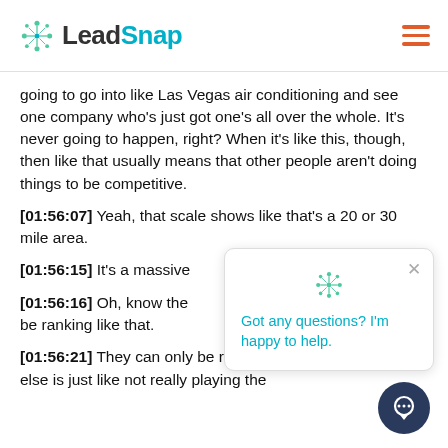LeadSnap
going to go into like Las Vegas air conditioning and see one company who's just got one's all over the whole. It's never going to happen, right? When it's like this, though, then like that usually means that other people aren't doing things to be competitive.
[01:56:07] Yeah, that scale shows like that's a 20 or 30 mile area.
[01:56:15] It's a massive
[01:56:16] Oh, know the be ranking like that.
[01:56:21] They can only be ranking that way if everybody else is just like not really playing the